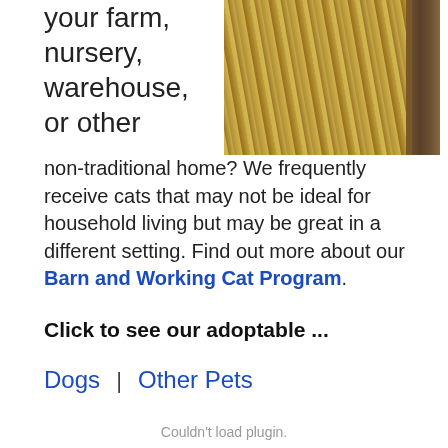your farm, nursery, warehouse, or other
[Figure (photo): Photo of hay/straw bales stacked against a weathered wooden barn structure]
non-traditional home? We frequently receive cats that may not be ideal for household living but may be great in a different setting. Find out more about our Barn and Working Cat Program.
Click to see our adoptable ...
Dogs  |  Other Pets
Couldn't load plugin.